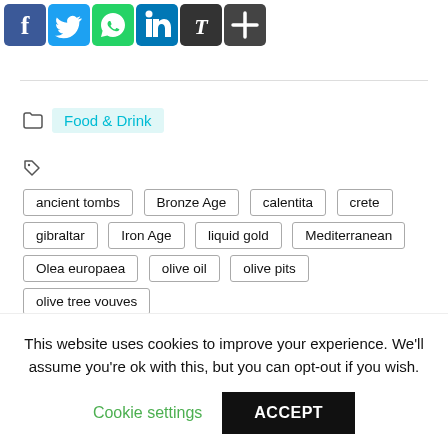[Figure (other): Social media share buttons: Facebook (blue), Twitter (blue), WhatsApp (green), LinkedIn (blue), Medium/Type (dark), Share/Plus (dark)]
Food & Drink
ancient tombs
Bronze Age
calentita
crete
gibraltar
Iron Age
liquid gold
Mediterranean
Olea europaea
olive oil
olive pits
olive tree vouves
pre-history
written tablets
This website uses cookies to improve your experience. We'll assume you're ok with this, but you can opt-out if you wish.
Cookie settings
ACCEPT